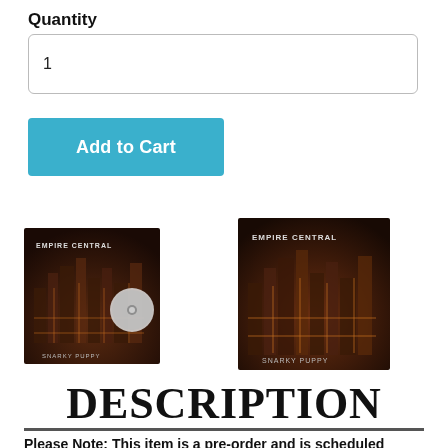Quantity
1
Add to Cart
[Figure (photo): Empire Central - Snarky Puppy album cover with CD, showing cityscape on dark background]
[Figure (photo): Empire Central - Snarky Puppy album cover (no CD), showing cityscape on dark background]
DESCRIPTION
Please Note: This item is a pre-order and is scheduled